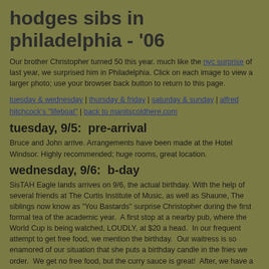hodges sibs in philadelphia - '06
Our brother Christopher turned 50 this year. much like the nyc surprise of last year, we surprised him in Philadelphia. Click on each image to view a larger photo; use your browser back button to return to this page.
tuesday & wednesday | thursday & friday | saturday & sunday | alfred hitchcock's "lifeboat" | back to manitscoldhere.com
tuesday, 9/5:  pre-arrival
Bruce and John arrive. Arrangements have been made at the Hotel Windsor. Highly recommended; huge rooms, great location.
wednesday, 9/6:  b-day
SisTAH Eagle lands arrives on 9/6, the actual birthday. With the help of several friends at The Curtis Institute of Music, as well as Shaune, The siblings now know as "You Bastards" surprise Christopher during the first formal tea of the academic year.  A first stop at a nearby pub, where the World Cup is being watched, LOUDLY, at $20 a head.  In our frequent attempt to get free food, we mention the birthday.  Our waitress is so enamored of our situation that she puts a birthday candle in the fries we order.  We get no free food, but the curry sauce is great!  After, we have a quick stop at the Copa Banana, and dinner is at Marra's in South Philadelphia.  Cheap wine and awesome food abound. We're all pretty pleased with our selections, but Chris' tortellini with cream sauce is "da bomb". Some of the best pizza I've had.
[Figure (photo): Three small photos at the bottom of the page showing scenes from the Philadelphia trip]
[Figure (photo): Middle photo from the Philadelphia trip]
[Figure (photo): Right photo from the Philadelphia trip - people]